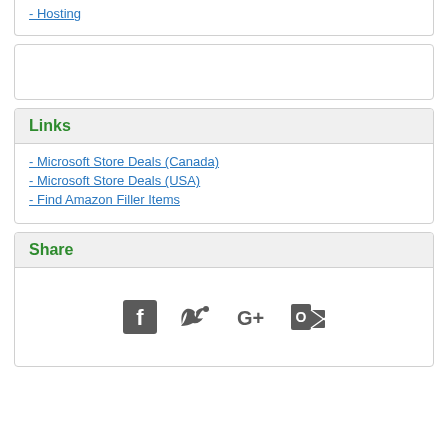- Hosting
Links
- Microsoft Store Deals (Canada)
- Microsoft Store Deals (USA)
- Find Amazon Filler Items
Share
[Figure (infographic): Social share icons: Facebook, Twitter, Google+, Outlook]